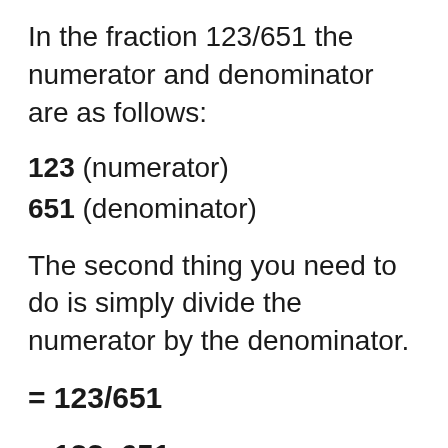In the fraction 123/651 the numerator and denominator are as follows:
123 (numerator)
651 (denominator)
The second thing you need to do is simply divide the numerator by the denominator.
As you can see, in fractions, the numerator is the number above the